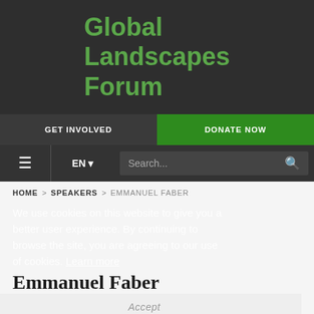Global Landscapes Forum
GET INVOLVED | DONATE NOW
≡  EN ▾  Search...
HOME > SPEAKERS > EMMANUEL FABER
We use cookies on this website to give you a better user experience. By continuing to browse the site, you are agreeing to our use of cookies. Learn more
Emmanuel Faber
Accept
[Figure (photo): Portrait photo of Emmanuel Faber, a man with dark hair, partially visible at the bottom of the page]